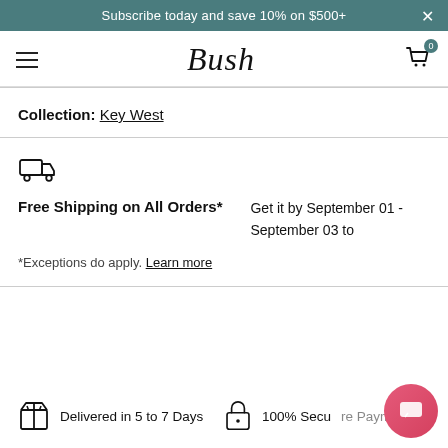Subscribe today and save 10% on $500+
Bush
Collection: Key West
[Figure (illustration): Truck/delivery icon]
Free Shipping on All Orders* — Get it by September 01 - September 03 to
*Exceptions do apply. Learn more
Delivered in 5 to 7 Days
100% Secu...ent